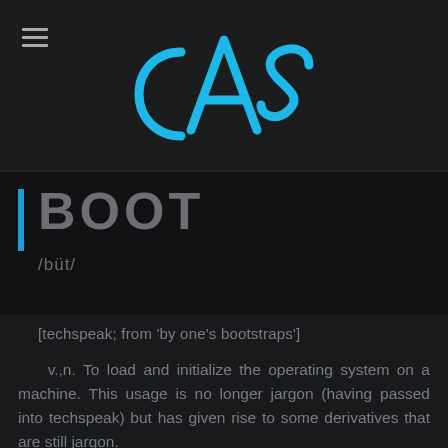CAS logo and hamburger menu
BOOT
/büt/
[techspeak; from 'by one's bootstraps']
v.,n. To load and initialize the operating system on a machine. This usage is no longer jargon (having passed into techspeak) but has given rise to some derivatives that are still jargon.
The derivative 'reboot' implies that the machine hasn't been down for long, or that the boot is